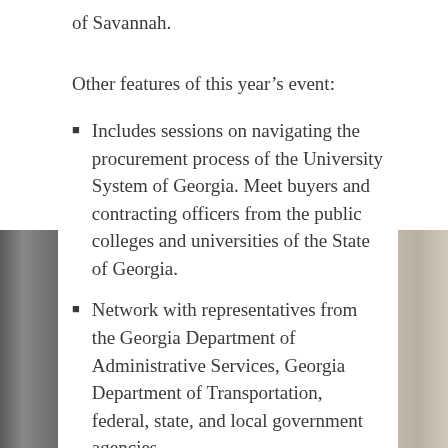of Savannah.
Other features of this year’s event:
Includes sessions on navigating the procurement process of the University System of Georgia. Meet buyers and contracting officers from the public colleges and universities of the State of Georgia.
Network with representatives from the Georgia Department of Administrative Services, Georgia Department of Transportation, federal, state, and local government agencies.